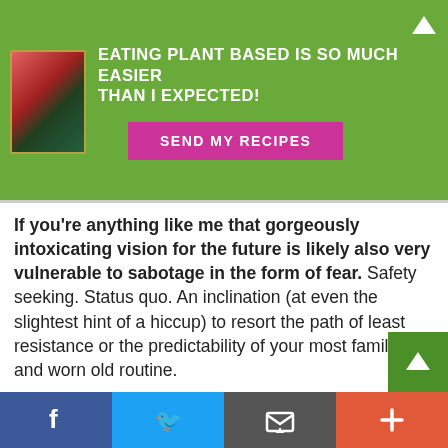[Figure (other): Green promotional banner with book image, heading 'EATING PLANT BASED IS SO MUCH EASIER THAN I EXPECTED!' and a pink 'SEND MY RECIPES' button, with an up-arrow icon]
If you're anything like me that gorgeously intoxicating vision for the future is likely also very vulnerable to sabotage in the form of fear. Safety seeking. Status quo. An inclination (at even the slightest hint of a hiccup) to resort the path of least resistance or the predictability of your most familiar and worn old routine.

It can all too easily be shattered by the hateful, hurtful comments and critics of others who are not daring to strive for any big exciting goal or dream. Heck, when my mind is back in control of THE brain I can easily recognise these others likely are not even striving for tiny goa
[Figure (other): Bottom social sharing bar with Facebook (blue), Twitter (light blue), Email (grey), and Plus (orange-red) buttons]